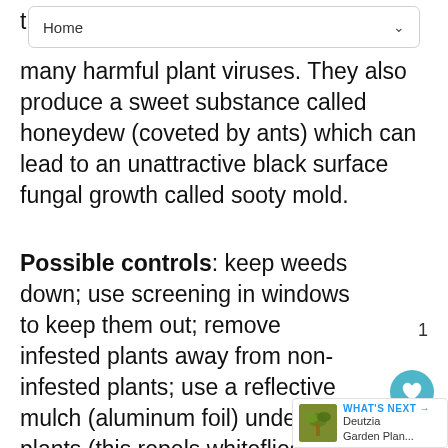Home
many harmful plant viruses. They also produce a sweet substance called honeydew (coveted by ants) which can lead to an unattractive black surface fungal growth called sooty mold.
Possible controls: keep weeds down; use screening in windows to keep them out; remove infested plants away from non-infested plants; use a reflective mulch (aluminum foil) under plants (this repels whiteflies); trap with yellow sticky cards, apply labeled pesticides; encourage natural enemies such as parasitic wasps in garden; and sometimes a good steady
[Figure (screenshot): UI overlay showing heart/favorite button (teal circle), share button, count badge '1', and 'WHAT'S NEXT' panel with Deutzia Garden Plan... thumbnail]
WHAT'S NEXT → Deutzia Garden Plan...